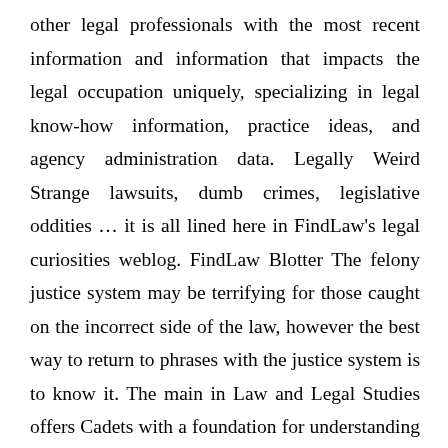other legal professionals with the most recent information and information that impacts the legal occupation uniquely, specializing in legal know-how information, practice ideas, and agency administration data. Legally Weird Strange lawsuits, dumb crimes, legislative oddities … it is all lined here in FindLaw's legal curiosities weblog. FindLaw Blotter The felony justice system may be terrifying for those caught on the incorrect side of the law, however the best way to return to phrases with the justice system is to know it. The main in Law and Legal Studies offers Cadets with a foundation for understanding both discrete authorized disciplines within the U.S. authorized system and the relationships of these disciplines with each other in creating a just and efficient rule of legislation society.